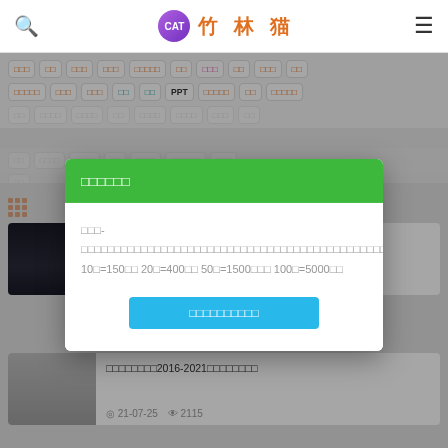竹林猫
[Figure (screenshot): Category navigation buttons with Chinese labels in two visible rows plus partial third row]
[Figure (screenshot): Modal dialog with green header showing Chinese text, body with Chinese description including pricing: 10元=150积分, 20元=400积分, 50元=1500积分, 100元=5000积分, and a blue confirmation button]
□□□-□□□□□□□□□□□□□□□□□□□□□□□□□□□□□□□□□□□□□□□□□□□□□□□□□□□□□□□□□□□□□□□□□□□□□□□□□□□□□□ 10□=150□□ 20□=400□□ 50□=1500□□□ 100□=5000□□
20-12-08  3490
□□□□□□□□2016-2021□□□□□□□□  21-07-25  2115